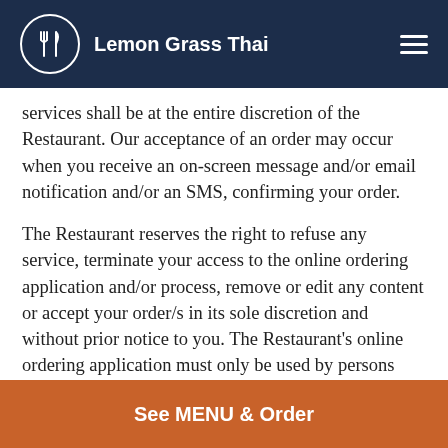Lemon Grass Thai
services shall be at the entire discretion of the Restaurant. Our acceptance of an order may occur when you receive an on-screen message and/or email notification and/or an SMS, confirming your order.
The Restaurant reserves the right to refuse any service, terminate your access to the online ordering application and/or process, remove or edit any content or accept your order/s in its sole discretion and without prior notice to you. The Restaurant's online ordering application must only be used by persons over the age of eighteen (18) years, or the minimum legal age as permitted by the law or otherwise under the supervision of an adult or guardian.
Any products and/or services provided through the online ordering application are done so on an "as is" and "if
See MENU & Order